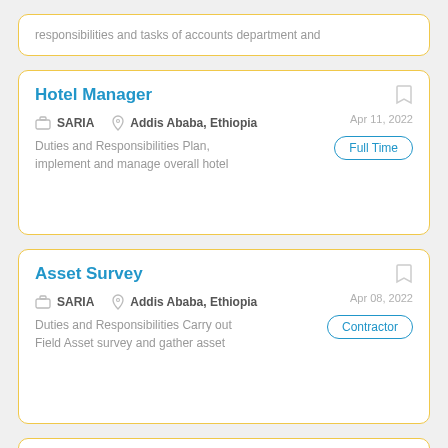responsibilities and tasks of accounts department and
Hotel Manager
SARIA   Addis Ababa, Ethiopia
Apr 11, 2022
Full Time
Duties and Responsibilities Plan, implement and manage overall hotel
Asset Survey
SARIA   Addis Ababa, Ethiopia
Apr 08, 2022
Contractor
Duties and Responsibilities Carry out Field Asset survey and gather asset